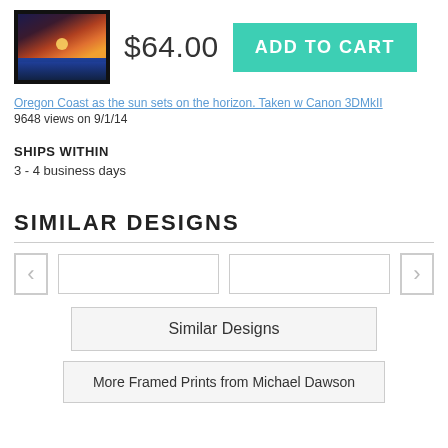[Figure (photo): Framed print thumbnail showing Oregon Coast sunset over ocean]
$64.00
ADD TO CART
Oregon Coast as the sun sets on the horizon. Taken w Canon 3DMkII
9648 views on 9/1/14
SHIPS WITHIN
3 - 4 business days
SIMILAR DESIGNS
Similar Designs
More Framed Prints from Michael Dawson